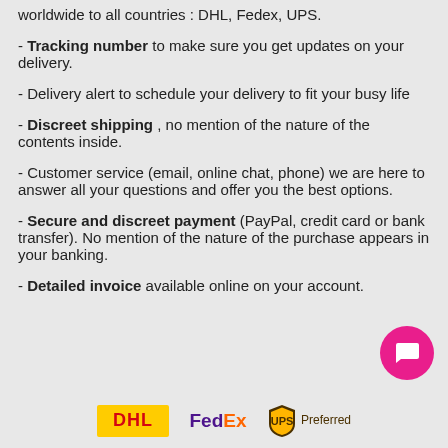worldwide to all countries : DHL, Fedex, UPS.
Tracking number to make sure you get updates on your delivery.
Delivery alert to schedule your delivery to fit your busy life
Discreet shipping , no mention of the nature of the contents inside.
Customer service (email, online chat, phone) we are here to answer all your questions and offer you the best options.
Secure and discreet payment (PayPal, credit card or bank transfer). No mention of the nature of the purchase appears in your banking.
Detailed invoice available online on your account.
[Figure (logo): Chat button icon (pink circle with speech bubble)]
[Figure (logo): Shipping carrier logos: DHL, FedEx, UPS Preferred]